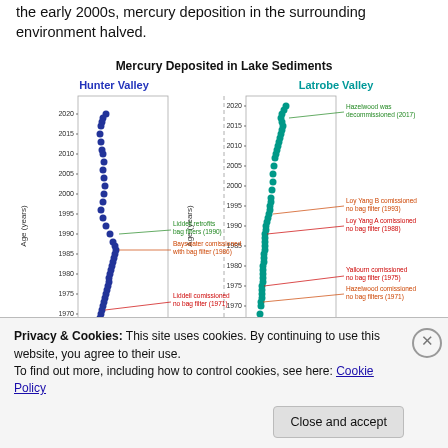the early 2000s, mercury deposition in the surrounding environment halved.
[Figure (scatter-plot): Two vertical scatter plots side by side. Left: Hunter Valley (blue dots) with annotations for Glenbawn Dam (1958), Liddell commissioned no bag filter (1971), Bayswater commissioned with bag filter (1986), Liddell retrofits bag filters (1990). Right: Latrobe Valley (teal dots) with annotations for Hazelwood commissioned no bag filters (1971), Yallourn commissioned no bag filter (1975), Loy Yang A commissioned no bag filter (1988), Loy Yang B commissioned no bag filter (1993), Hazelwood was decommissioned (2017). Y-axis: Age (years) from ~1955 to 2020.]
Privacy & Cookies: This site uses cookies. By continuing to use this website, you agree to their use.
To find out more, including how to control cookies, see here: Cookie Policy